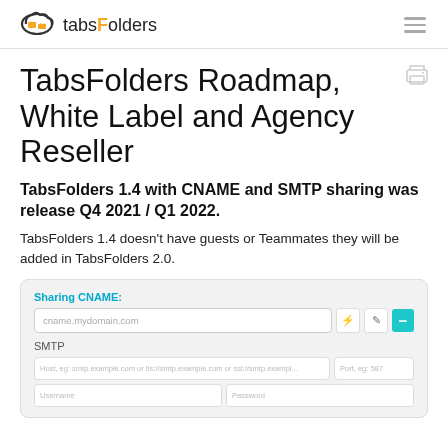tabsFolders
TabsFolders Roadmap, White Label and Agency Reseller
TabsFolders 1.4 with CNAME and SMTP sharing was release Q4 2021 / Q1 2022.
TabsFolders 1.4 doesn't have guests or Teammates they will be added in TabsFolders 2.0.
[Figure (screenshot): UI screenshot showing Sharing CNAME input field with copy and edit buttons and a teal minus button, and SMTP section with host, port, username, and password input fields]